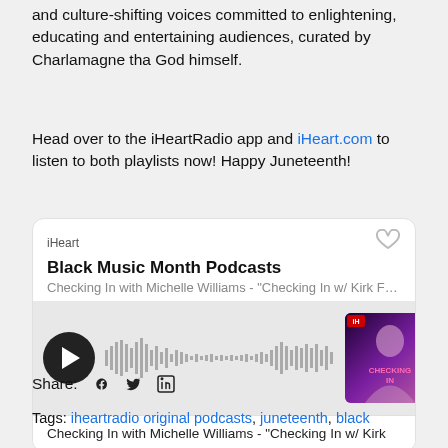and culture-shifting voices committed to enlightening, educating and entertaining audiences, curated by Charlamagne tha God himself.
Head over to the iHeartRadio app and iHeart.com to listen to both playlists now! Happy Juneteenth!
[Figure (screenshot): iHeart podcast player widget showing 'Black Music Month Podcasts' with subtitle 'Checking In with Michelle Williams - "Checking In w/ Kirk Fra…"', a play button, waveform visualizer, and album art for 'Checking In with Michelle Williams'. Bottom shows 'Checking In with Michelle Williams - "Checking In w/ Kirk']
Share: [facebook] [twitter] [linkedin]
Tags: iheartradio original podcasts, juneteenth, black